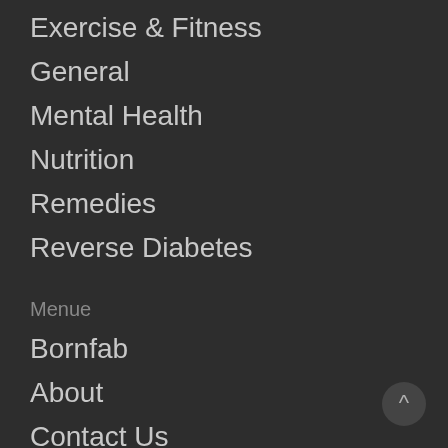Exercise & Fitness
General
Mental Health
Nutrition
Remedies
Reverse Diabetes
Menue
Bornfab
About
Contact Us
Custom Keto Plan 2020
Disclaimer
Privacy Policy